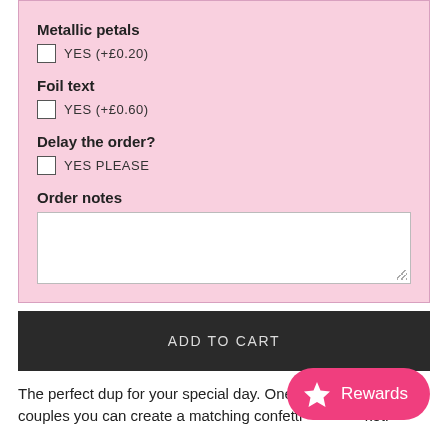Metallic petals
YES (+£0.20)
Foil text
YES (+£0.60)
Delay the order?
YES PLEASE
Order notes
ADD TO CART
The perfect dup for your special day. One couples you can create a matching confetti ket.